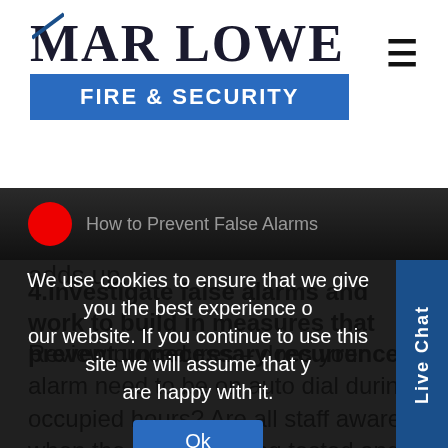MARLOWE FIRE & SECURITY
false economy as call out charges and the disruption caused soon adds up.
4.Investigate false alarms and work to build in measures that prevent unnecessary recurrence
Review procedures – does your alarm need to be on auto dial during occupied hours? Are all staff aware when the alarm is being tested and can you isolate areas whilst testing? Train staff to safely investigate the causes of any alarm so you can confirm any incident.
[Figure (screenshot): Video thumbnail strip with red record button on dark background]
We use cookies to ensure that we give you the best experience on our website. If you continue to use this site we will assume that you are happy with it.